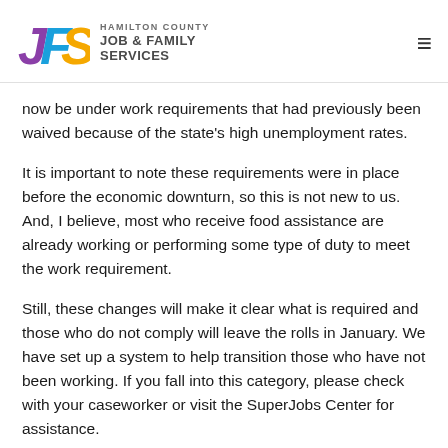[Figure (logo): Hamilton County Job & Family Services (JFS) logo with colorful J, F, S letters and agency name text]
now be under work requirements that had previously been waived because of the state's high unemployment rates.
It is important to note these requirements were in place before the economic downturn, so this is not new to us. And, I believe, most who receive food assistance are already working or performing some type of duty to meet the work requirement.
Still, these changes will make it clear what is required and those who do not comply will leave the rolls in January. We have set up a system to help transition those who have not been working. If you fall into this category, please check with your caseworker or visit the SuperJobs Center for assistance.